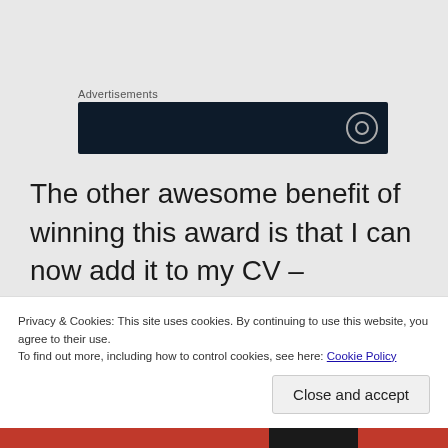Advertisements
[Figure (other): Dark navy advertisement banner with circular icon on the right]
The other awesome benefit of winning this award is that I can now add it to my CV – hopefully, it will look good on my resumé, helping me to get secure great jobs in my early career. I am a national award winner now – that's pretty cool.
Privacy & Cookies: This site uses cookies. By continuing to use this website, you agree to their use.
To find out more, including how to control cookies, see here: Cookie Policy